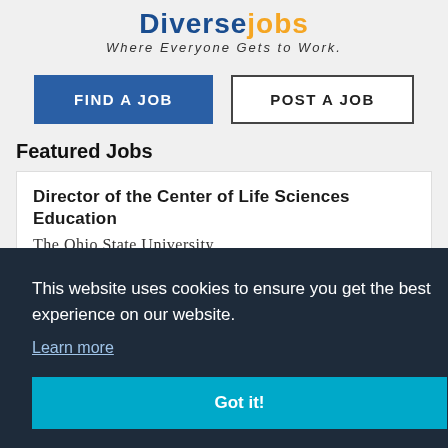[Figure (logo): DiverseJobs logo with tagline 'Where Everyone Gets to Work.']
[Figure (screenshot): Two buttons: 'FIND A JOB' (blue filled) and 'POST A JOB' (white outlined)]
Featured Jobs
Director of the Center of Life Sciences Education
The Ohio State University
This website uses cookies to ensure you get the best experience on our website.
Learn more
Got it!
University of South Carolina